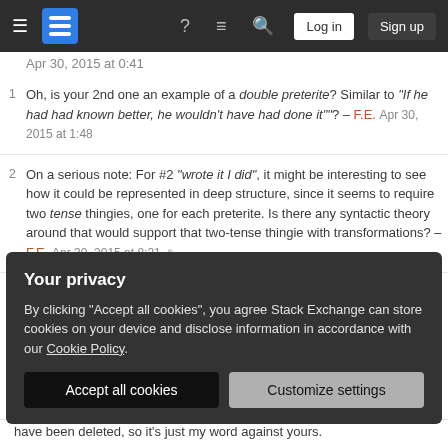Stack Exchange navigation bar with Log in and Sign up buttons
Apr 30, 2015 at 0:41
1  Oh, is your 2nd one an example of a double preterite? Similar to "If he had had known better, he wouldn't have had done it""? – F.E. Apr 30, 2015 at 1:48
2  On a serious note: For #2 "wrote it I did", it might be interesting to see how it could be represented in deep structure, since it seems to require two tense thingies, one for each preterite. Is there any syntactic theory around that would support that two-tense thingie with transformations? – F.E. Apr 30, 2015 at 8:21
1  @Mari-LouA I had no problem with your comments, but I
Your privacy
By clicking "Accept all cookies", you agree Stack Exchange can store cookies on your device and disclose information in accordance with our Cookie Policy.
Accept all cookies  Customize settings
have been deleted, so it's just my word against yours.